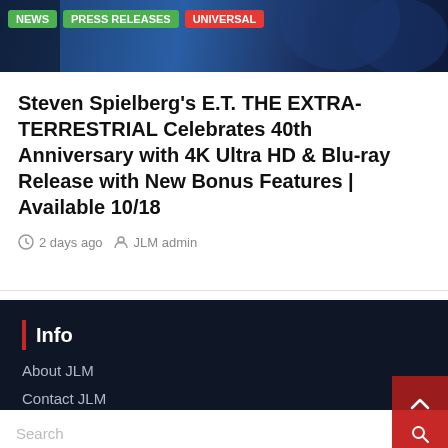[Figure (photo): Dark blue banner image of a night scene with tags NEWS (green), PRESS RELEASES (green), UNIVERSAL (red) overlaid]
Steven Spielberg's E.T. THE EXTRA-TERRESTRIAL Celebrates 40th Anniversary with 4K Ultra HD & Blu-ray Release with New Bonus Features | Available 10/18
2 days ago   JLM admin
Info
About JLM
Contact JLM
Search